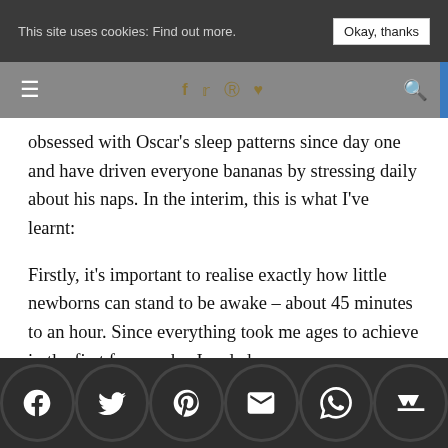This site uses cookies: Find out more. | Okay, thanks
obsessed with Oscar's sleep patterns since day one and have driven everyone bananas by stressing daily about his naps. In the interim, this is what I've learnt:
Firstly, it's important to realise exactly how little newborns can stand to be awake – about 45 minutes to an hour. Since everything took me ages to achieve in the first few weeks, I ended up ing O wake out ble tha d by th e I to